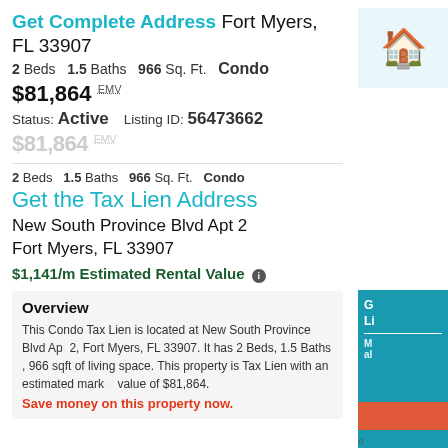Get Complete Address Fort Myers, FL 33907
2 Beds   1.5 Baths   966 Sq. Ft.   Condo
$81,864 EMV
Status: Active   Listing ID: 56473662
$81,864 EMV
2 Beds   1.5 Baths   966 Sq. Ft.   Condo
Get the Tax Lien Address
New South Province Blvd Apt 2
Fort Myers, FL 33907
$1,141/m Estimated Rental Value
Overview
This Condo Tax Lien is located at New South Province Blvd Apt 2, Fort Myers, FL 33907. It has 2 Beds, 1.5 Baths , 966 sqft of living space. This property is Tax Lien with an estimated market value of $81,864.
Save money on this property now.